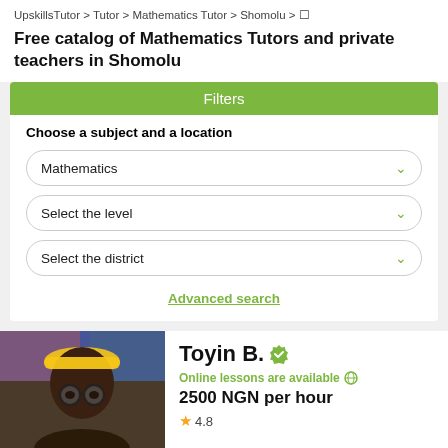UpskillsTutor > Tutor > Mathematics Tutor > Shomolu > []
Free catalog of Mathematics Tutors and private teachers in Shomolu
Filters
Choose a subject and a location
Mathematics
Select the level
Select the district
Advanced search
Toyin B.
Online lessons are available
2500 NGN per hour
4.8